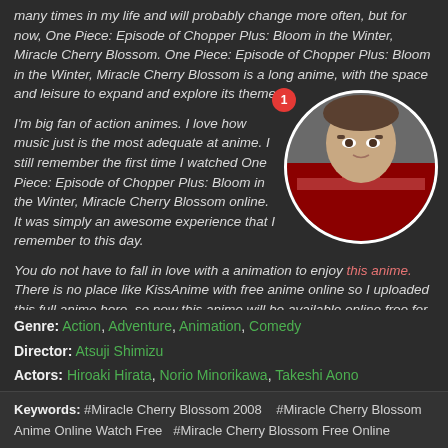many times in my life and will probably change more often, but for now, One Piece: Episode of Chopper Plus: Bloom in the Winter, Miracle Cherry Blossom. One Piece: Episode of Chopper Plus: Bloom in the Winter, Miracle Cherry Blossom is a long anime, with the space and leisure to expand and explore its themes.
[Figure (photo): Circular avatar photo of a man (Superman actor) with red and blue costume visible, with a red notification badge showing '1' to the left of the avatar]
I'm big fan of action animes. I love how music just is the most adequate at anime. I still remember the first time I watched One Piece: Episode of Chopper Plus: Bloom in the Winter, Miracle Cherry Blossom online. It was simply an awesome experience that I remember to this day.
You do not have to fall in love with a animation to enjoy this anime. There is no place like KissAnime with free anime online so I uploaded this full anime here, so now this anime will be available online free for all.
Genre: Action, Adventure, Animation, Comedy
Director: Atsuji Shimizu
Actors: Hiroaki Hirata, Norio Minorikawa, Takeshi Aono
Country: Japan
Duration: 116
Quality: 4K
Release: 2008
IMDb: 7.1
Keywords: #Miracle Cherry Blossom 2008  #Miracle Cherry Blossom Anime Online Watch Free  #Miracle Cherry Blossom Free Online